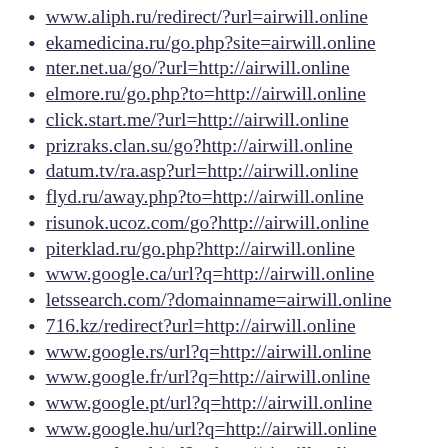www.aliph.ru/redirect/?url=airwill.online
ekamedicina.ru/go.php?site=airwill.online
nter.net.ua/go/?url=http://airwill.online
elmore.ru/go.php?to=http://airwill.online
click.start.me/?url=http://airwill.online
prizraks.clan.su/go?http://airwill.online
datum.tv/ra.asp?url=http://airwill.online
flyd.ru/away.php?to=http://airwill.online
risunok.ucoz.com/go?http://airwill.online
piterklad.ru/go.php?http://airwill.online
www.google.ca/url?q=http://airwill.online
letssearch.com/?domainname=airwill.online
716.kz/redirect?url=http://airwill.online
www.google.rs/url?q=http://airwill.online
www.google.fr/url?q=http://airwill.online
www.google.pt/url?q=http://airwill.online
www.google.hu/url?q=http://airwill.online
cse.google.mk/url?q=http://airwill.online
www.google.si/url?q=http://airwill.online